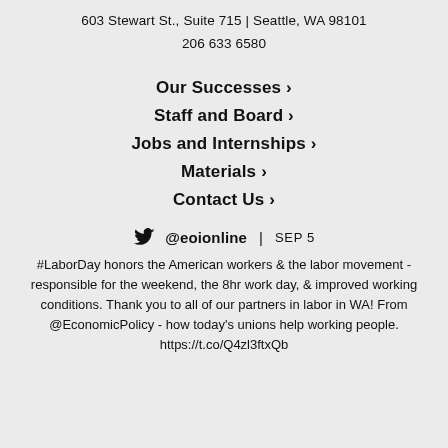603 Stewart St., Suite 715 | Seattle, WA 98101
206 633 6580
Our Successes >
Staff and Board >
Jobs and Internships >
Materials >
Contact Us >
@eoionline | SEP 5
#LaborDay honors the American workers & the labor movement - responsible for the weekend, the 8hr work day, & improved working conditions. Thank you to all of our partners in labor in WA! From @EconomicPolicy - how today's unions help working people. https://t.co/Q4zl3ftxQb